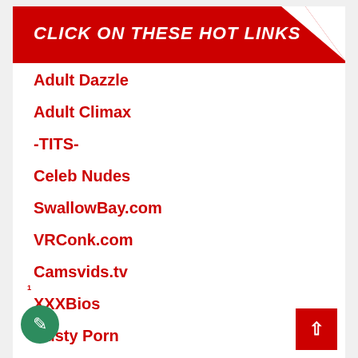CLICK ON THESE HOT LINKS
Adult Dazzle
Adult Climax
-TITS-
Celeb Nudes
SwallowBay.com
VRConk.com
Camsvids.tv
XXXBios
Busty Porn
Cheap Sex Dolls
Big Tit Sites
Mr Pinks Porn Reviews